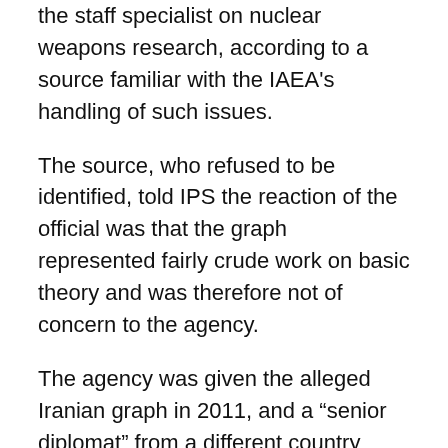the staff specialist on nuclear weapons research, according to a source familiar with the IAEA's handling of such issues.
The source, who refused to be identified, told IPS the reaction of the official was that the graph represented fairly crude work on basic theory and was therefore not of concern to the agency.
The agency was given the alleged Iranian graph in 2011, and a “senior diplomat” from a different country from the source of the graph said IAEA investigators realised the diagramme was flawed shortly after they received it, according to the Dec. 1 AP story.
The IAEA’s familiarity with the Seifritz graph, two years before it was given graphs that bore a close resemblance to it and which the agency knew contained a huge